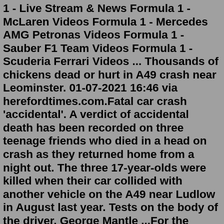1 - Live Stream & News Formula 1 - McLaren Videos Formula 1 - Mercedes AMG Petronas Videos Formula 1 - Sauber F1 Team Videos Formula 1 - Scuderia Ferrari Videos ... Thousands of chickens dead or hurt in A49 crash near Leominster. 01-07-2021 16:46 via herefordtimes.com.Fatal car crash 'accidental'. A verdict of accidental death has been recorded on three teenage friends who died in a head on crash as they returned home from a night out. The three 17-year-olds were killed when their car collided with another vehicle on the A49 near Ludlow in August last year. Tests on the body of the driver, George Mantle ...For the latest news and breaking news visit liverpoolecho.co.uk/news. ... Two lanes are now also closed due to crash on M6 Northbound at J22 A49 Winwick Link Road (Newton Le Willows).Product Description. The Roland A49 MIDI Keyboard Controller is a lightweight, slim-line controller that features a premium-grade, full-size keyboard that raises the bar in its class. The Roland A49 is a dream for musicians seeking a simple, easy-to-use MIDI